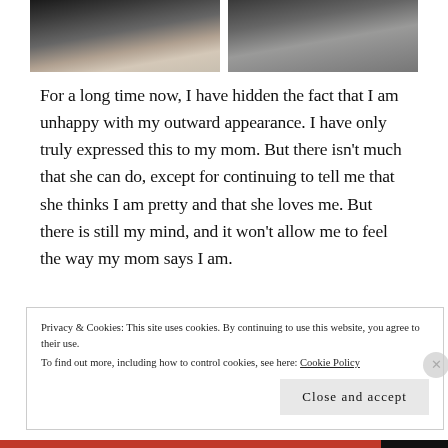[Figure (photo): Two side-by-side photos: left photo shows a white cake on a table with someone in the background; right photo shows two people standing together outdoors.]
For a long time now, I have hidden the fact that I am unhappy with my outward appearance. I have only truly expressed this to my mom. But there isn't much that she can do, except for continuing to tell me that she thinks I am pretty and that she loves me. But there is still my mind, and it won't allow me to feel the way my mom says I am.
Privacy & Cookies: This site uses cookies. By continuing to use this website, you agree to their use.
To find out more, including how to control cookies, see here: Cookie Policy